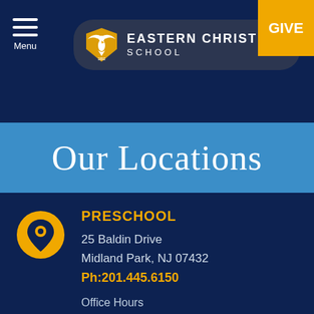Eastern Christian School — Menu | GIVE
Our Locations
PRESCHOOL
25 Baldin Drive
Midland Park, NJ 07432
Ph:201.445.6150
Office Hours
8:00 AM - 3:30 PM